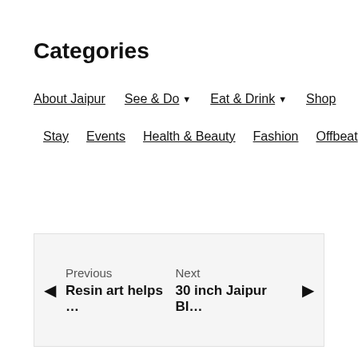Categories
About Jaipur
See & Do ▾
Eat & Drink ▾
Shop
Stay
Events
Health & Beauty
Fashion
Offbeat
◄ Previous
Resin art helps …
30 inch Jaipur Bl…
Next ►